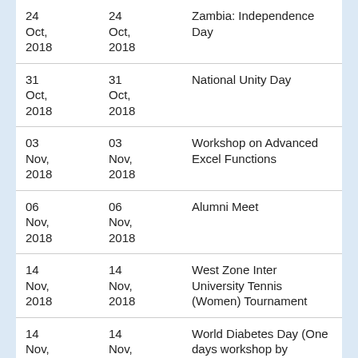| 24 Oct, 2018 | 24 Oct, 2018 | Zambia: Independence Day |
| 31 Oct, 2018 | 31 Oct, 2018 | National Unity Day |
| 03 Nov, 2018 | 03 Nov, 2018 | Workshop on Advanced Excel Functions |
| 06 Nov, 2018 | 06 Nov, 2018 | Alumni Meet |
| 14 Nov, 2018 | 14 Nov, 2018 | West Zone Inter University Tennis (Women) Tournament |
| 14 Nov, 2018 | 14 Nov, 2018 | World Diabetes Day (One days workshop by different expert and one day visit to old age |